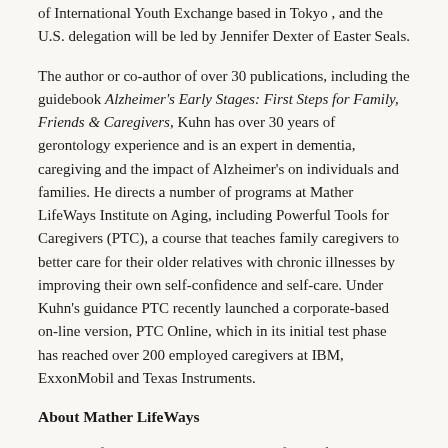of International Youth Exchange based in Tokyo , and the U.S. delegation will be led by Jennifer Dexter of Easter Seals.
The author or co-author of over 30 publications, including the guidebook Alzheimer's Early Stages: First Steps for Family, Friends & Caregivers, Kuhn has over 30 years of gerontology experience and is an expert in dementia, caregiving and the impact of Alzheimer's on individuals and families. He directs a number of programs at Mather LifeWays Institute on Aging, including Powerful Tools for Caregivers (PTC), a course that teaches family caregivers to better care for their older relatives with chronic illnesses by improving their own self-confidence and self-care. Under Kuhn's guidance PTC recently launched a corporate-based on-line version, PTC Online, which in its initial test phase has reached over 200 employed caregivers at IBM, ExxonMobil and Texas Instruments.
About Mather LifeWays
Mather LifeWays is a 50+-year-old, not-for-profit organization committed to helping older adults age well. Mather LifeWays demonstrates its commitment to promoting the vitality and